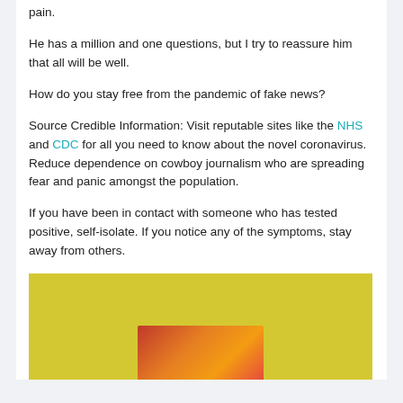pain.
He has a million and one questions, but I try to reassure him that all will be well.
How do you stay free from the pandemic of fake news?
Source Credible Information: Visit reputable sites like the NHS and CDC for all you need to know about the novel coronavirus. Reduce dependence on cowboy journalism who are spreading fear and panic amongst the population.
If you have been in contact with someone who has tested positive, self-isolate. If you notice any of the symptoms, stay away from others.
[Figure (photo): Yellow background image with colorful object at the bottom center, partially visible]